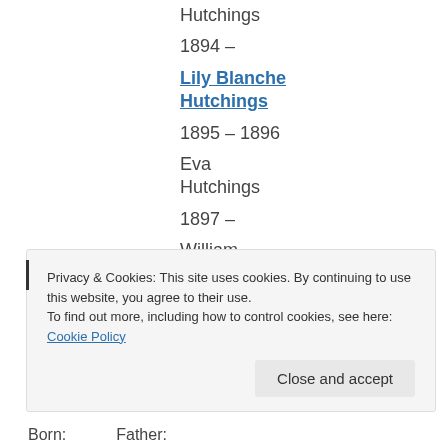Hutchings
1894 –
Lily Blanche Hutchings
1895 – 1896
Eva Hutchings
1897 –
William Charles Hutchings
1900 –
Privacy & Cookies: This site uses cookies. By continuing to use this website, you agree to their use.
To find out more, including how to control cookies, see here: Cookie Policy
Born:
Father: